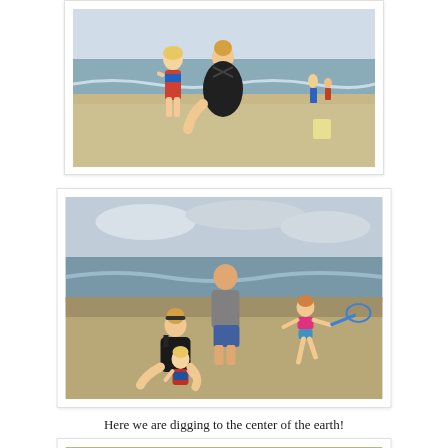[Figure (photo): Two people on a beach seen from behind — a toddler in colorful swim trunks standing next to a woman in a black swimsuit sitting on the sand. Ocean waves visible in background with other beachgoers.]
[Figure (photo): Family on a beach — a man standing, a girl running toward the water holding a blue net, and a woman in a black swimsuit crouching with a toddler on the wet sand. Cloudy sky and ocean in background.]
Here we are digging to the center of the earth!
[Figure (photo): Partial view of a beach photo at the bottom of the page — cropped, showing sand and people.]